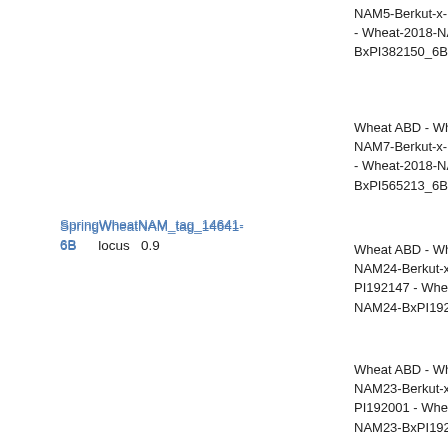SpringWheatNAM_tag_14641-6B    locus    0.9
NAM5-Berkut-x-PI38... - Wheat-2018-NAM5-BxPI382150_6B
Wheat ABD - Wheat-NAM7-Berkut-x-PI56... - Wheat-2018-NAM7-BxPI565213_6B
Wheat ABD - Wheat-NAM24-Berkut-x-PI192147 - Wheat-2018-NAM24-BxPI192147...
Wheat ABD - Wheat-NAM23-Berkut-x-PI192001 - Wheat-2018-NAM23-BxPI192001...
Wheat ABD - Wheat-NAM4-Berkut-x-PI36... - Wheat-2018-NAM4-BxPI366716_6B
Wheat ABD - Wheat-NAM17-Berkut-x-PI8... - Wheat-2018-NAM17-BxPI82469_6B
Wheat ABD - Wheat-NAM10-Berkut-x-PI9... Wheat-2018-NAM10...